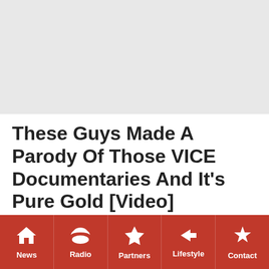[Figure (other): Gray advertisement placeholder area at top of page]
These Guys Made A Parody Of Those VICE Documentaries And It's Pure Gold [Video]
September 8, 2015 by Kiernan
If you're looking to kick back and relax (and waste 20-odd
News | Radio | Partners | Lifestyle | Contact